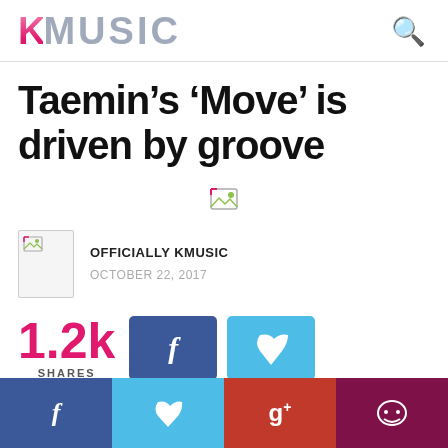KMUSIC
Taemin's ‘Move’ is driven by groove
[Figure (photo): Broken/missing image placeholder in article]
OFFICIALLY KMUSIC
OCTOBER 22, 2017
1.2k SHARES
[Figure (infographic): Social share buttons: Facebook (blue) and Twitter (light blue) buttons, and bottom bar with Facebook, Twitter, Google+, and comment icons]